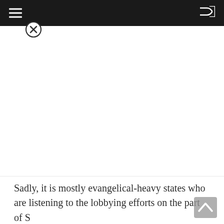≡  ⇌
[Figure (other): Close (X) button circular icon overlapping the top bar and white content area]
[Figure (other): White advertisement/content placeholder area]
Sadly, it is mostly evangelical-heavy states who are listening to the lobbying efforts on the part of S
[Figure (other): Scroll-to-top chevron button (upward arrow) in grey rounded rectangle, bottom-right corner]